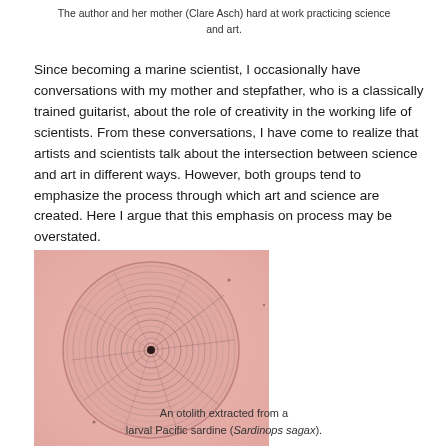The author and her mother (Clare Asch) hard at work practicing science and art.
Since becoming a marine scientist, I occasionally have conversations with my mother and stepfather, who is a classically trained guitarist, about the role of creativity in the working life of scientists. From these conversations, I have come to realize that artists and scientists talk about the intersection between science and art in different ways. However, both groups tend to emphasize the process through which art and science are created. Here I argue that this emphasis on process may be overstated.
[Figure (photo): Microscope photograph of an otolith (ear stone) extracted from a larval Pacific sardine (Sardinops sagax). The otolith appears as a circular structure with concentric growth rings visible, on a pink/salmon-colored background. The image shows fine radial lines extending from a dark central nucleus outward through the rings.]
An otolith extracted from a larval Pacific sardine (Sardinops sagax).